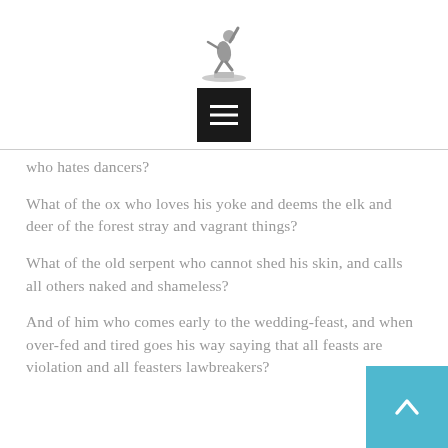[Figure (illustration): Small decorative figure/logo of a dancing or leaping person on a pedestal, grayscale]
[Figure (other): Black square button with three horizontal white lines (hamburger/menu icon)]
who hates dancers?
What of the ox who loves his yoke and deems the elk and deer of the forest stray and vagrant things?
What of the old serpent who cannot shed his skin, and calls all others naked and shameless?
And of him who comes early to the wedding-feast, and when over-fed and tired goes his way saying that all feasts are violation and all feasters lawbreakers?